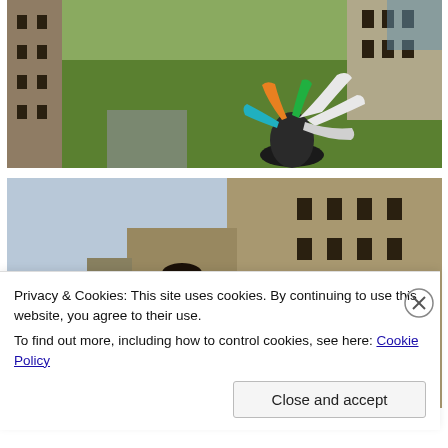[Figure (screenshot): 3D rendered scene of a medieval castle courtyard with green grass lawn and castle towers/battlements. In the center-right area, a colorful 3D object (resembling a hand or tree shape) with orange, green, teal, and white tubular arms extends upward from a dark bell-shaped base on the grass.]
[Figure (screenshot): 3D rendered scene of a medieval castle exterior with a large stone tower wall on the right side, a gatehouse in the center background, and a green grass courtyard. In the foreground-left, a colorful hand/tree-like 3D object with red, magenta/pink, white, orange, teal, and green tubular appendages rises from a dark black base on the grass.]
Privacy & Cookies: This site uses cookies. By continuing to use this website, you agree to their use.
To find out more, including how to control cookies, see here: Cookie Policy
Close and accept